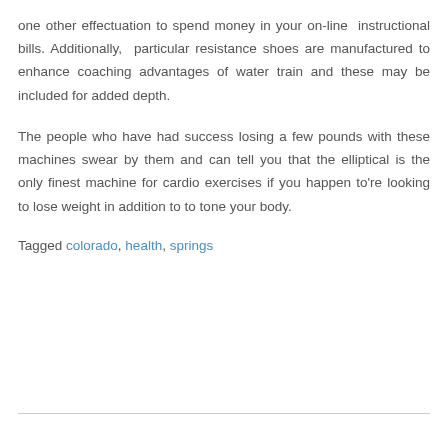one other effectuation to spend money in your online instructional bills. Additionally, particular resistance shoes are manufactured to enhance coaching advantages of water train and these may be included for added depth.
The people who have had success losing a few pounds with these machines swear by them and can tell you that the elliptical is the only finest machine for cardio exercises if you happen to're looking to lose weight in addition to to tone your body.
Tagged colorado, health, springs